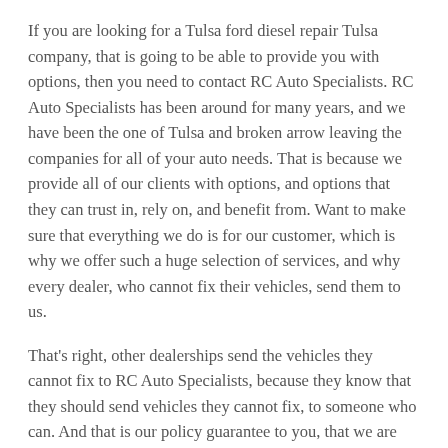If you are looking for a Tulsa ford diesel repair Tulsa company, that is going to be able to provide you with options, then you need to contact RC Auto Specialists. RC Auto Specialists has been around for many years, and we have been the one of Tulsa and broken arrow leaving the companies for all of your auto needs. That is because we provide all of our clients with options, and options that they can trust in, rely on, and benefit from. Want to make sure that everything we do is for our customer, which is why we offer such a huge selection of services, and why every dealer, who cannot fix their vehicles, send them to us.
That's right, other dealerships send the vehicles they cannot fix to RC Auto Specialists, because they know that they should send vehicles they cannot fix, to someone who can. And that is our policy guarantee to you, that we are gonna be able to fix your vehicle right the first time around. That way, we cut out